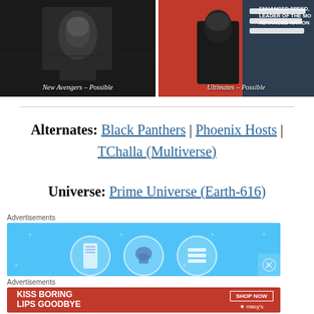[Figure (screenshot): Two side-by-side comic/game character images. Left: dark superhero figure with caption 'New Avengers – Possible'. Right: Black Panther character with red/blue background, caption 'Ultimates – Possible', partial text 'ENHANCED SPEED, LEADER OF THE MO ADVANCED NATION']
Alternates: Black Panthers | Phoenix Hosts | TChalla (Multiverse)
Universe: Prime Universe (Earth-616)
Advertisements
[Figure (screenshot): Blue advertisement banner with three circular icons depicting simple graphics]
Advertisements
[Figure (screenshot): Red Macy's advertisement: 'KISS BORING LIPS GOODBYE' with SHOP NOW button and Macy's star logo]